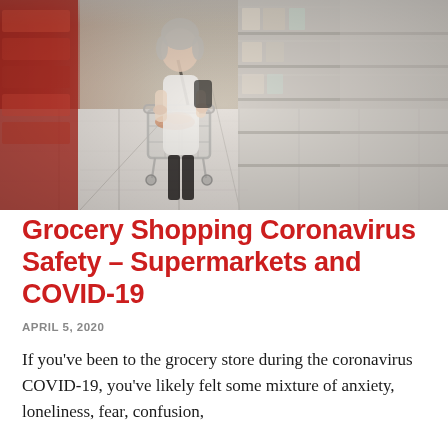[Figure (photo): Woman pushing a shopping cart through a grocery store aisle with shelves stocked with products on the right and a red-accented shelf area on the left.]
Grocery Shopping Coronavirus Safety – Supermarkets and COVID-19
APRIL 5, 2020
If you've been to the grocery store during the coronavirus COVID-19, you've likely felt some mixture of anxiety, loneliness, fear, confusion,